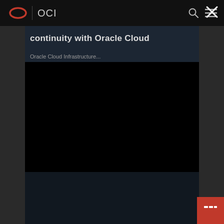OCI
continuity with Oracle Cloud
Oracle Cloud Infrastructure...
[Figure (screenshot): Dark video player area, black background, part of an Oracle Cloud Infrastructure product page with navigation overlay showing OCI logo and close button]
[Figure (screenshot): Bottom content area showing additional page content below video, dark background with subtle content visible]